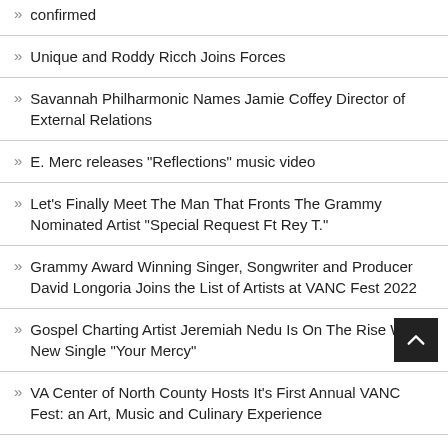confirmed
Unique and Roddy Ricch Joins Forces
Savannah Philharmonic Names Jamie Coffey Director of External Relations
E. Merc releases "Reflections" music video
Let's Finally Meet The Man That Fronts The Grammy Nominated Artist "Special Request Ft Rey T."
Grammy Award Winning Singer, Songwriter and Producer David Longoria Joins the List of Artists at VANC Fest 2022
Gospel Charting Artist Jeremiah Nedu Is On The Rise With New Single "Your Mercy"
VA Center of North County Hosts It's First Annual VANC Fest: an Art, Music and Culinary Experience